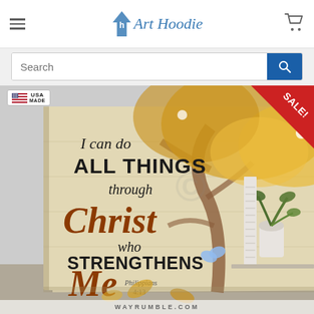Art Hoodie
[Figure (screenshot): Art Hoodie e-commerce website screenshot showing logo with hamburger menu, cart icon, search bar, a product image of a canvas art print featuring a German Shepherd dog with the biblical quote 'I can do ALL THINGS through Christ who STRENGTHENS Me – Philippians 4:13', a USA Made badge, and a SALE! triangle badge]
WAYRUMBLE.COM